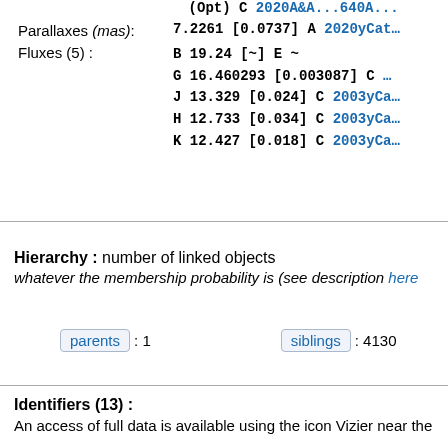(Opt) C 2020A&A...640A...
Parallaxes (mas): 7.2261 [0.0737] A 2020yCat...
Fluxes (5): B 19.24 [~] E ~
G 16.460293 [0.003087] C ...
J 13.329 [0.024] C 2003yCa...
H 12.733 [0.034] C 2003yCa...
K 12.427 [0.018] C 2003yCa...
Hierarchy : number of linked objects
whatever the membership probability is (see description here
parents : 1
siblings : 4130
Identifiers (13) :
An access of full data is available using the icon Vizier near the